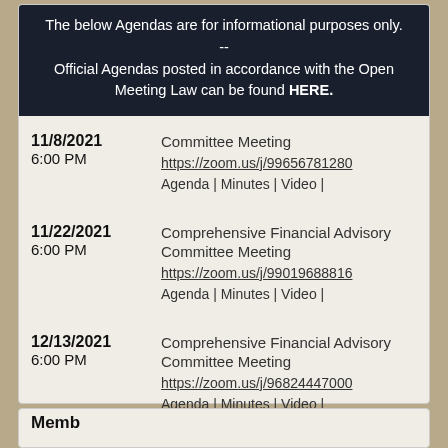The below Agendas are for informational purposes only.
--
Official Agendas posted in accordance with the Open Meeting Law can be found HERE.
11/8/2021 6:00 PM | Committee Meeting | https://zoom.us/j/99656781280 | Agenda | Minutes | Video |
11/22/2021 6:00 PM | Comprehensive Financial Advisory Committee Meeting | https://zoom.us/j/99019688816 | Agenda | Minutes | Video |
12/13/2021 6:00 PM | Comprehensive Financial Advisory Committee Meeting | https://zoom.us/j/96824447000 | Agenda | Minutes | Video |